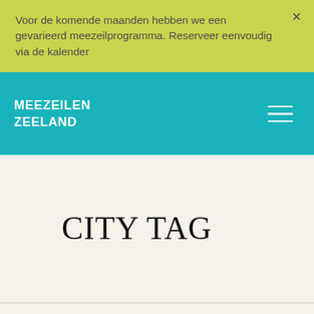Voor de komende maanden hebben we een gevarieerd meezeilprogramma. Reserveer eenvoudig via de kalender
MEEZEILEN ZEELAND
CITY TAG